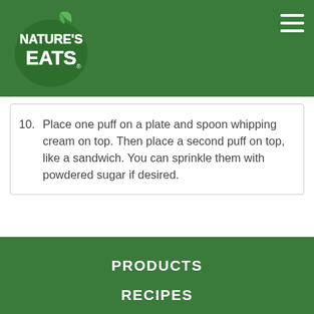Nature's Eats logo and navigation menu
10. Place one puff on a plate and spoon whipping cream on top. Then place a second puff on top, like a sandwich. You can sprinkle them with powdered sugar if desired.
PRODUCTS
RECIPES
ABOUT US
BUY NOW